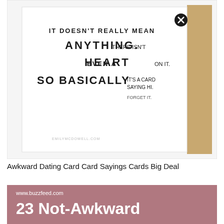[Figure (photo): A greeting card with hand-lettered text reading 'IT DOESN'T REALLY MEAN ANYTHING. THERE ISN'T EVEN A HEART ON IT. SO BASICALLY IT'S A CARD SAYING HI. FORGET IT.' with a kraft paper envelope behind it. A circular X/close icon appears on the card near the top right.]
Awkward Dating Card Card Sayings Cards Big Deal
[Figure (screenshot): A pink/mauve BuzzFeed article thumbnail showing the URL www.buzzfeed.com and the article title '23 Not-Awkward Gifts For The Person You Just Started Dating' in large white bold text. A circular X close icon appears within the word 'Dating'.]